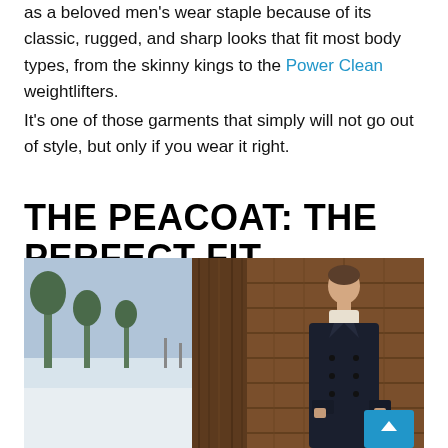as a beloved men's wear staple because of its classic, rugged, and sharp looks that fit most body types, from the skinny kings to the Power Clean weightlifters.
It's one of those garments that simply will not go out of style, but only if you wear it right.
THE PEACOAT: THE PERFECT FIT
[Figure (photo): A man wearing a dark navy peacoat standing in front of a rustic wooden barn wall, with a snowy winter landscape visible to the left side.]